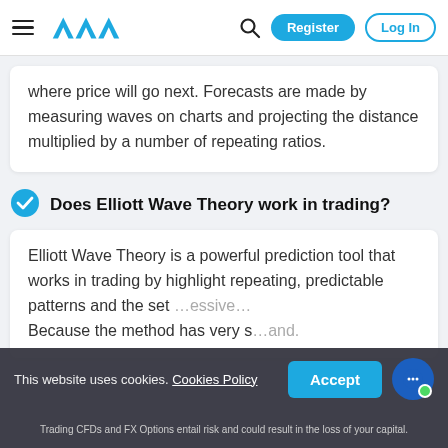AVA — Register | Log In
where price will go next. Forecasts are made by measuring waves on charts and projecting the distance multiplied by a number of repeating ratios.
Does Elliott Wave Theory work in trading?
Elliott Wave Theory is a powerful prediction tool that works in trading by highlight repeating, predictable patterns and the set … essive… Because the method has very s… and.
This website uses cookies. Cookies Policy
Trading CFDs and FX Options entail risk and could result in the loss of your capital.